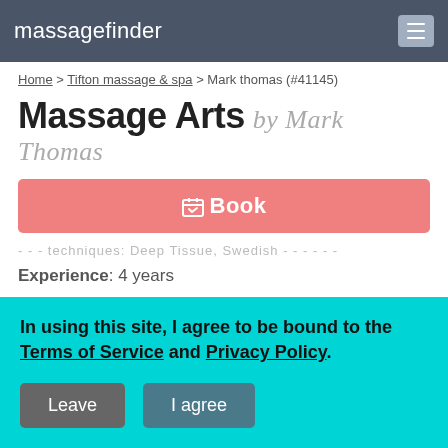massagefinder
Home > Tifton massage & spa > Mark thomas (#41145)
Massage Arts by Mark Thomas
Book
techniques: Deep Tissue, Swedish...
Experience: 4 years
In-studio amenities: Bottled Water, Candles, Free Parking, Massage Table, Music, Private Restroom, Shower
In using this site, I agree to be bound to the Terms of Service and Privacy Policy.
Leave
I agree